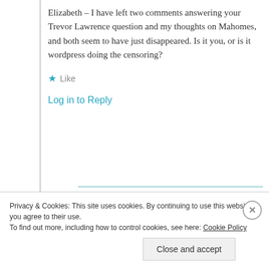Elizabeth – I have left two comments answering your Trevor Lawrence question and my thoughts on Mahomes, and both seem to have just disappeared. Is it you, or is it wordpress doing the censoring?
★ Like
Log in to Reply
elizabeth dunn
Privacy & Cookies: This site uses cookies. By continuing to use this website, you agree to their use.
To find out more, including how to control cookies, see here: Cookie Policy
Close and accept